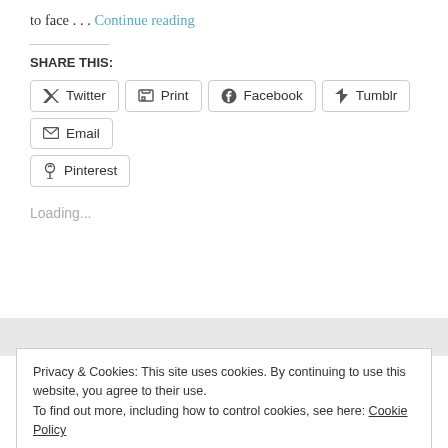to face . . . Continue reading
SHARE THIS:
Twitter
Print
Facebook
Tumblr
Email
Pinterest
Loading...
Privacy & Cookies: This site uses cookies. By continuing to use this website, you agree to their use.
To find out more, including how to control cookies, see here: Cookie Policy
Close and accept